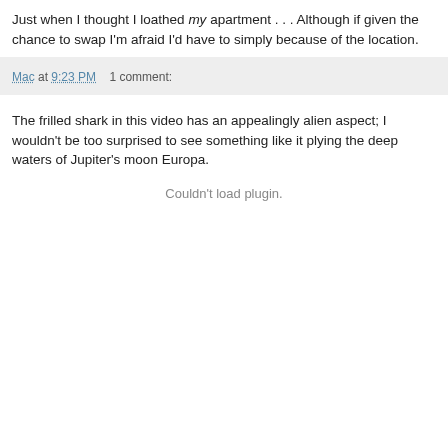Just when I thought I loathed my apartment . . . Although if given the chance to swap I'm afraid I'd have to simply because of the location.
Mac at 9:23 PM    1 comment:
The frilled shark in this video has an appealingly alien aspect; I wouldn't be too surprised to see something like it plying the deep waters of Jupiter's moon Europa.
Couldn't load plugin.